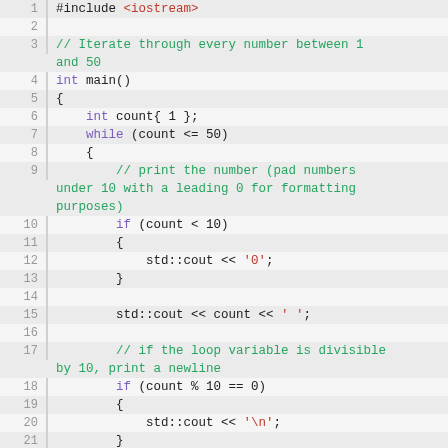[Figure (screenshot): C++ source code editor view showing lines 1-22 of a program that iterates through numbers 1 to 50, printing them with leading zeros for numbers under 10 and newlines for multiples of 10.]